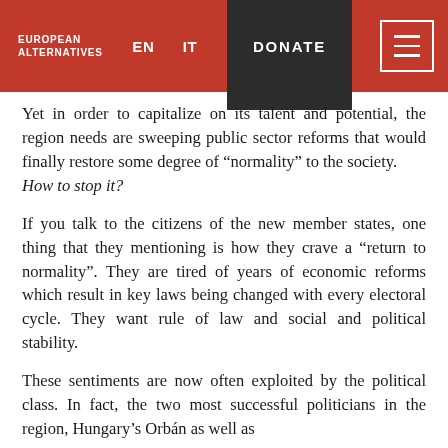EUROPEAN ALTERNATIVES | EN | IT | DONATE
Yet in order to capitalize on its talent and potential, the region needs are sweeping public sector reforms that would finally restore some degree of “normality” to the society.
How to stop it?
If you talk to the citizens of the new member states, one thing that they mentioning is how they crave a “return to normality”. They are tired of years of economic reforms which result in key laws being changed with every electoral cycle. They want rule of law and social and political stability.
These sentiments are now often exploited by the political class. In fact, the two most successful politicians in the region, Hungary’s Orbán as well as